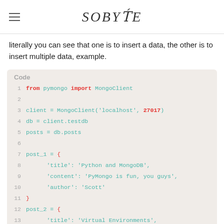SOBYTE
literally you can see that one is to insert a data, the other is to insert multiple data, example.
[Figure (screenshot): Python code block showing MongoDB connection and post insertion using pymongo. Lines 1-19 visible, with syntax highlighting (keywords in red, strings/identifiers in teal).]